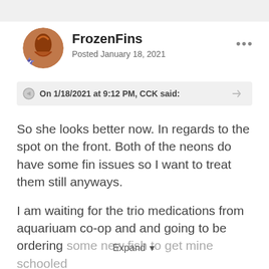FrozenFins
Posted January 18, 2021
On 1/18/2021 at 9:12 PM, CCK said:
So she looks better now. In regards to the spot on the front. Both of the neons do have some fin issues so I want to treat them still anyways.
I am waiting for the trio medications from aquariuam co-op and and going to be ordering some new fish to get mine schooled
Expand